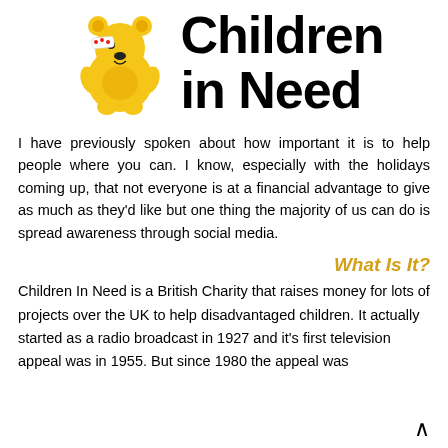[Figure (logo): BBC Children in Need logo: yellow Pudsey bear with red polka dot bandage over right eye, sitting with paws in lap. To the right, large bold black text reads 'Children in Need' on two lines.]
I have previously spoken about how important it is to help people where you can. I know, especially with the holidays coming up, that not everyone is at a financial advantage to give as much as they'd like but one thing the majority of us can do is spread awareness through social media.
What Is It?
Children In Need is a British Charity that raises money for lots of projects over the UK to help disadvantaged children. It actually started as a radio broadcast in 1927 and it's first television appeal was in 1955. But since 1980 the appeal was